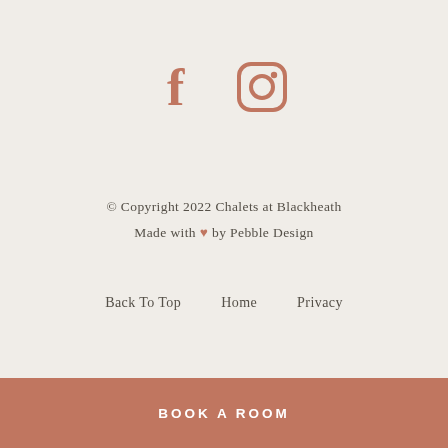[Figure (logo): Facebook and Instagram social media icons in terracotta/rose-brown color, side by side]
© Copyright 2022 Chalets at Blackheath
Made with ♥ by Pebble Design
Back To Top     Home     Privacy
BOOK A ROOM